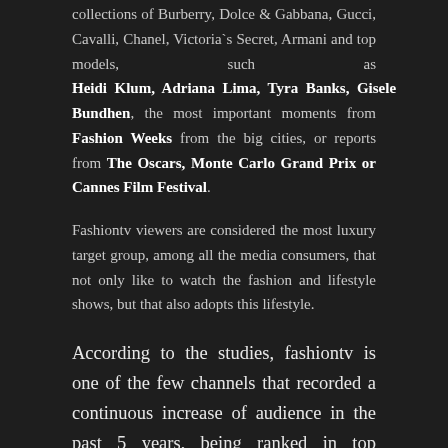collections of Burberry, Dolce & Gabbana, Gucci, Cavalli, Chanel, Victoria`s Secret, Armani and top models, such as Heidi Klum, Adriana Lima, Tyra Banks, Gisele Bundhen, the most important moments from Fashion Weeks from the big cities, or reports from The Oscars, Monte Carlo Grand Prix or Cannes Film Festival.
Fashiontv viewers are considered the most luxury target group, among all the media consumers, that not only like to watch the fashion and lifestyle shows, but that also adopts this lifestyle.
According to the studies, fashiontv is one of the few channels that recorded a continuous increase of audience in the past 5 years, being ranked in top “ relaxation channels”.